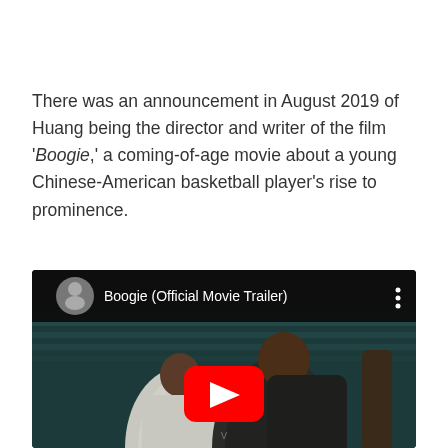There was an announcement in August 2019 of Huang being the director and writer of the film 'Boogie,' a coming-of-age movie about a young Chinese-American basketball player's rise to prominence.
[Figure (screenshot): YouTube video thumbnail for 'Boogie (Official Movie Trailer)' showing two young men on a basketball court with a YouTube play button overlay]
v